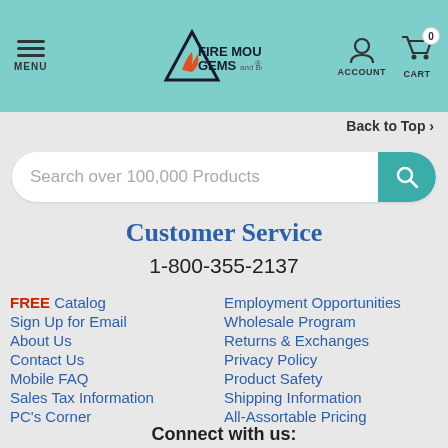[Figure (screenshot): Fire Mountain Gems and Beads website header with teal background, hamburger menu icon labeled MENU, mountain/gem logo with FIRE MOUNTAIN GEMS and Beads text, account icon, and cart icon with 0 badge]
Back to Top
Search over 100,000 Products
Customer Service
1-800-355-2137
FREE Catalog
Employment Opportunities
Sign Up for Email
Wholesale Program
About Us
Returns & Exchanges
Contact Us
Privacy Policy
Mobile FAQ
Product Safety
Sales Tax Information
Shipping Information
PC's Corner
All-Assortable Pricing
Connect with us: